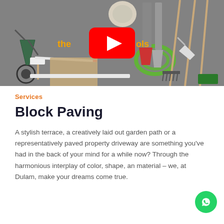[Figure (screenshot): YouTube video thumbnail showing paving tools laid out on concrete surface including wheelbarrow, rubber mallet, shovel, rake, hose, trowel, broom, pencil, straight edge, and cardboard square. A YouTube play button is overlaid in the center with orange text 'the tools' partially visible.]
Services
Block Paving
A stylish terrace, a creatively laid out garden path or a representatively paved property driveway are something you've had in the back of your mind for a while now? Through the harmonious interplay of color, shape, an material – we, at Dulam, make your dreams come true.